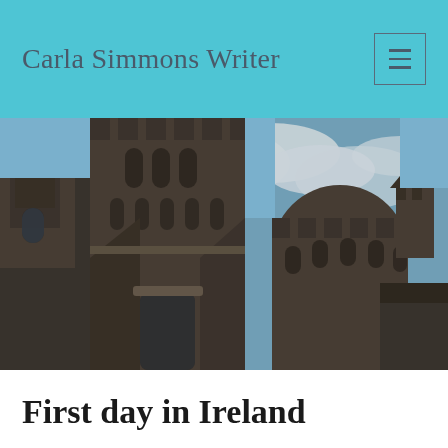Carla Simmons Writer
[Figure (photo): Upward-angled photograph of a Gothic stone cathedral with tall spire and circular turret tower against a partly cloudy blue sky. Dark stone masonry with ornate Gothic architectural details.]
First day in Ireland